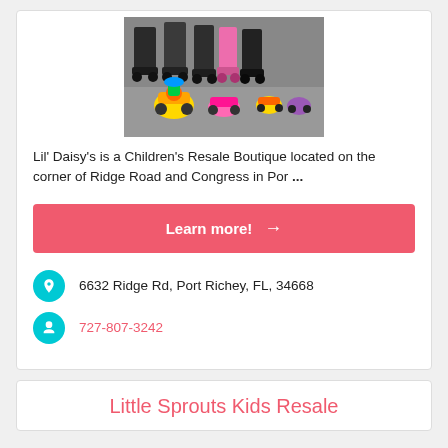[Figure (photo): Photo of children's strollers and ride-on toys lined up in a store or parking area]
Lil' Daisy's is a Children's Resale Boutique located on the corner of Ridge Road and Congress in Por ...
Learn more! →
6632 Ridge Rd, Port Richey, FL, 34668
727-807-3242
Little Sprouts Kids Resale